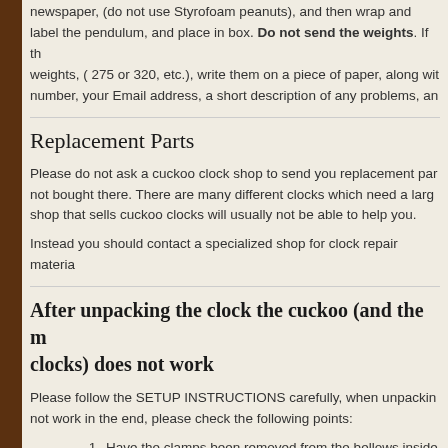newspaper, (do not use Styrofoam peanuts), and then wrap and label the pendulum, and place in box. Do not send the weights. If the weights, ( 275 or 320, etc.), write them on a piece of paper, along with number, your Email address, a short description of any problems, and
Replacement Parts
Please do not ask a cuckoo clock shop to send you replacement parts not bought there. There are many different clocks which need a large shop that sells cuckoo clocks will usually not be able to help you.
Instead you should contact a specialized shop for clock repair materia
After unpacking the clock the cuckoo (and the mu clocks) does not work
Please follow the SETUP INSTRUCTIONS carefully, when unpacking not work in the end, please check the following points:
Have the clamps been removed from the bellows inside the clock as described in the instructions?